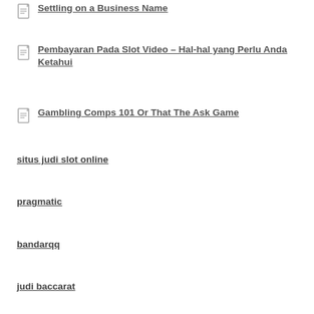Settling on a Business Name
Pembayaran Pada Slot Video – Hal-hal yang Perlu Anda Ketahui
Gambling Comps 101 Or That The Ask Game
situs judi slot online
pragmatic
bandarqq
judi baccarat